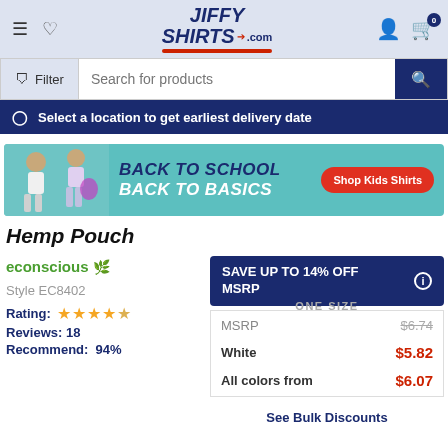JiffyShirts.com header with navigation, search bar, and location banner
[Figure (screenshot): Back to School Back to Basics promotional banner with kids and Shop Kids Shirts button]
Hemp Pouch
econscious brand logo
SAVE UP TO 14% OFF MSRP
Style EC8402
ONE SIZE
Rating: 4.5 stars
Reviews: 18
Recommend: 94%
|  |  |
| --- | --- |
| MSRP | $6.74 |
| White | $5.82 |
| All colors from | $6.07 |
See Bulk Discounts